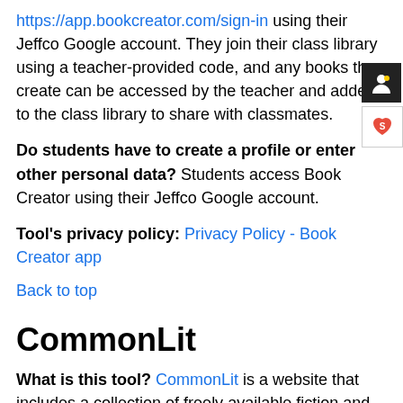https://app.bookcreator.com/sign-in using their Jeffco Google account. They join their class library using a teacher-provided code, and any books they create can be accessed by the teacher and added to the class library to share with classmates.
Do students have to create a profile or enter other personal data? Students access Book Creator using their Jeffco Google account.
Tool's privacy policy: Privacy Policy - Book Creator app
Back to top
CommonLit
What is this tool? CommonLit is a website that includes a collection of freely available fiction and nonfiction reading material with teacher-led reading instruction...